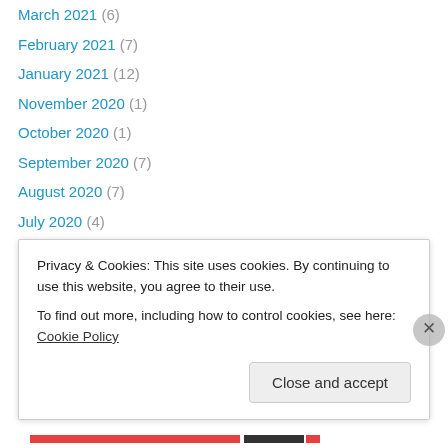March 2021 (6)
February 2021 (7)
January 2021 (12)
November 2020 (1)
October 2020 (1)
September 2020 (7)
August 2020 (7)
July 2020 (4)
June 2020 (6)
May 2020 (12)
April 2020 (10)
March 2020 (8)
February 2020 (3)
January 2020 (2)
Privacy & Cookies: This site uses cookies. By continuing to use this website, you agree to their use.
To find out more, including how to control cookies, see here: Cookie Policy